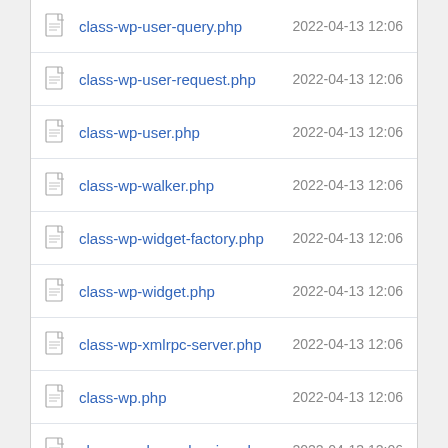|  | Name | Date |
| --- | --- | --- |
| [file] | class-wp-user-query.php | 2022-04-13 12:06 |
| [file] | class-wp-user-request.php | 2022-04-13 12:06 |
| [file] | class-wp-user.php | 2022-04-13 12:06 |
| [file] | class-wp-walker.php | 2022-04-13 12:06 |
| [file] | class-wp-widget-factory.php | 2022-04-13 12:06 |
| [file] | class-wp-widget.php | 2022-04-13 12:06 |
| [file] | class-wp-xmlrpc-server.php | 2022-04-13 12:06 |
| [file] | class-wp.php | 2022-04-13 12:06 |
| [file] | class.wp-dependencies.php | 2022-04-13 12:06 |
| [file] | class.wp-scripts.php | 2022-04-13 12:06 |
| [file] | class.wp-styles.php | 2022-04-13 12:06 |
| [file] | comment-template.php | 2022-04-13 12:06 |